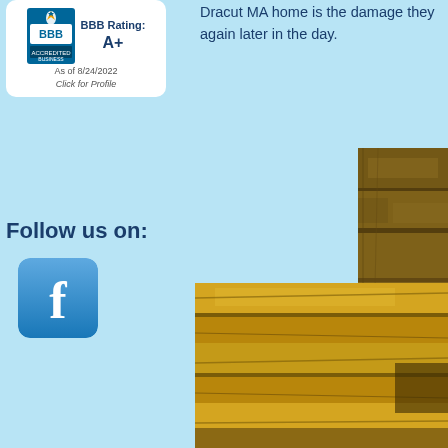[Figure (logo): BBB Accredited Business logo with BBB Rating A+ as of 8/24/2022, Click for Profile]
Dracut MA home is the damage they again later in the day.
Follow us on:
[Figure (logo): Facebook icon button - blue square with white 'f' logo]
[Figure (photo): Photo of wooden boards/lumber - upper right crop]
[Figure (photo): Photo of wooden boards/lumber - bottom portion]